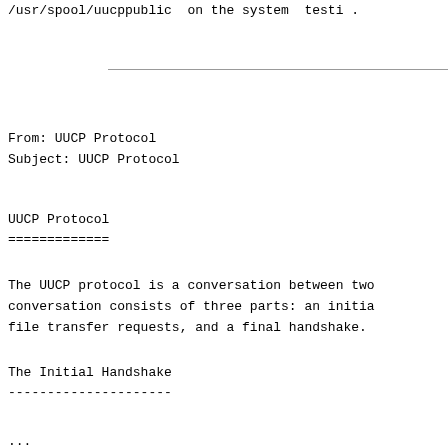/usr/spool/uucppublic  on the system  testi .
From: UUCP Protocol
Subject: UUCP Protocol
UUCP Protocol
=============
The UUCP protocol is a conversation between two
conversation consists of three parts: an initia
file transfer requests, and a final handshake.
The Initial Handshake
---------------------
...